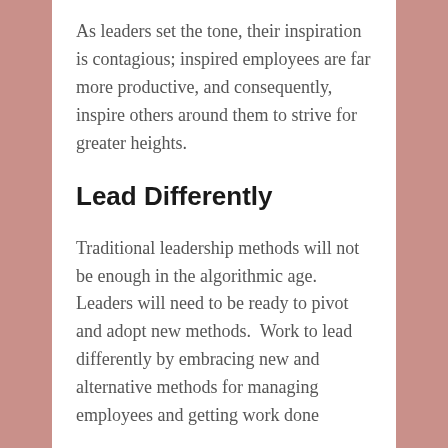As leaders set the tone, their inspiration is contagious; inspired employees are far more productive, and consequently, inspire others around them to strive for greater heights.
Lead Differently
Traditional leadership methods will not be enough in the algorithmic age. Leaders will need to be ready to pivot and adopt new methods.  Work to lead differently by embracing new and alternative methods for managing employees and getting work done